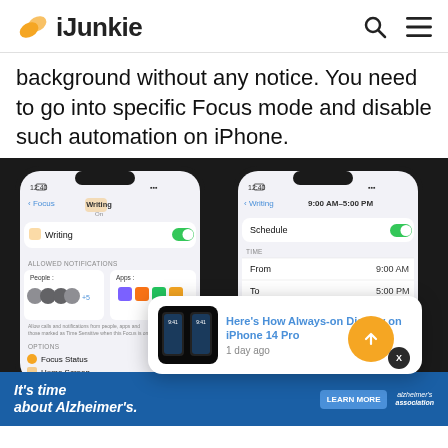iJunkie
background without any notice. You need to go into specific Focus mode and disable such automation on iPhone.
[Figure (screenshot): Two iPhone screenshots showing iOS Focus mode settings. Left phone shows Writing focus mode with allowed notifications for People and Apps, and options for Focus Status, Home Screen, Lock Screen. Right phone shows Writing focus schedule set 9:00 AM-5:00 PM with Schedule toggle on, TIME section with From 9:00 AM and To 5:00 PM, and REPEAT days S M T W T F S highlighted in orange. A yellow scroll-to-top button and a black X button appear overlaid. A notification card overlay shows 'Here's How Always-on Display on iPhone 14 Pro' with '1 day ago'. An ad banner at bottom reads 'It's time... about Alzheimer's.' with LEARN MORE button and Alzheimer's Association logo.]